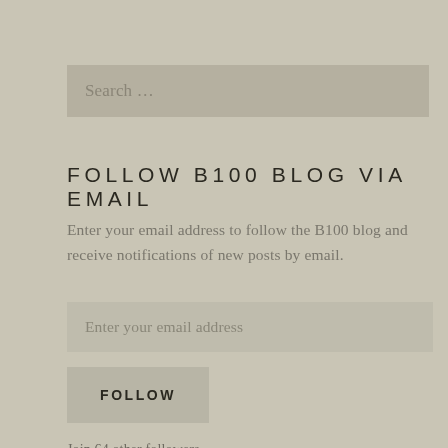Search ...
FOLLOW B100 BLOG VIA EMAIL
Enter your email address to follow the B100 blog and receive notifications of new posts by email.
Enter your email address
FOLLOW
Join 64 other followers